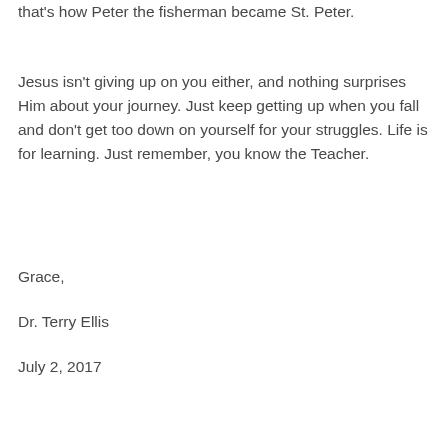that's how Peter the fisherman became St. Peter.
Jesus isn't giving up on you either, and nothing surprises Him about your journey. Just keep getting up when you fall and don't get too down on yourself for your struggles. Life is for learning. Just remember, you know the Teacher.
Grace,
Dr. Terry Ellis
July 2, 2017
[Figure (other): Banner with text 'Book Dr. Terry for Your Next Event' in blue italic bold font on a light blue background, with a scroll-to-top button on the right.]